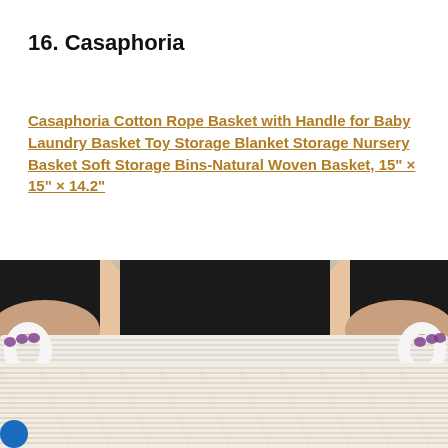16. Casaphoria
Casaphoria Cotton Rope Basket with Handle for Baby Laundry Basket Toy Storage Blanket Storage Nursery Basket Soft Storage Bins-Natural Woven Basket, 15" × 15" × 14.2"
[Figure (photo): Close-up photo of a white cotton rope woven basket being held by two hands on each side. The basket has white rope handles and features a natural woven texture with cream and light gray tones. The interior of the basket is dark. A small blue circular logo is visible at the bottom left corner.]